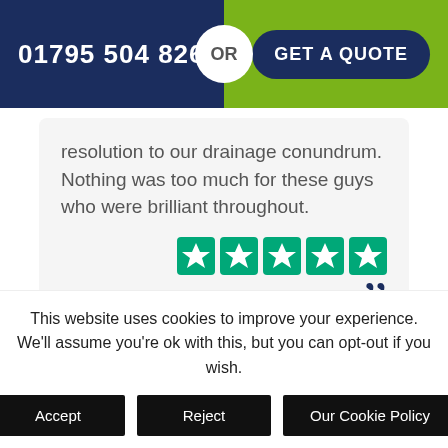01795 504 826  OR  GET A QUOTE
resolution to our drainage conundrum. Nothing was too much for these guys who were brilliant throughout.
[Figure (other): Five green Trustpilot star rating icons]
Miss Carey
1 month ago
This website uses cookies to improve your experience. We'll assume you're ok with this, but you can opt-out if you wish.